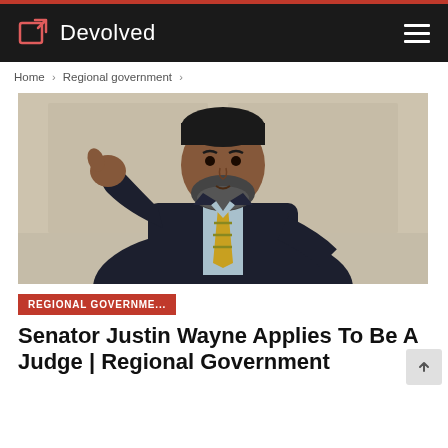Devolved
Home > Regional government >
[Figure (photo): A man in a dark suit with a gold and blue striped tie, gesturing with his hand raised, beard, speaking in front of a blurred background.]
REGIONAL GOVERNME...
Senator Justin Wayne Applies To Be A Judge | Regional Government